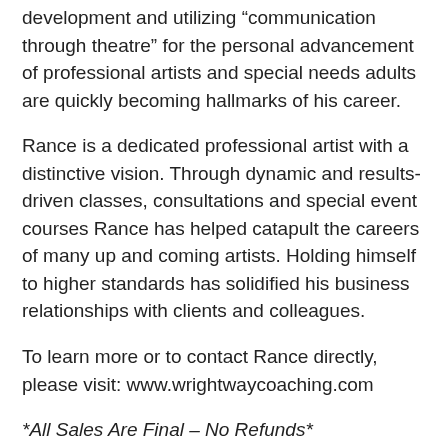development and utilizing “communication through theatre” for the personal advancement of professional artists and special needs adults are quickly becoming hallmarks of his career.
Rance is a dedicated professional artist with a distinctive vision. Through dynamic and results-driven classes, consultations and special event courses Rance has helped catapult the careers of many up and coming artists. Holding himself to higher standards has solidified his business relationships with clients and colleagues.
To learn more or to contact Rance directly, please visit: www.wrightwaycoaching.com
*All Sales Are Final – No Refunds*